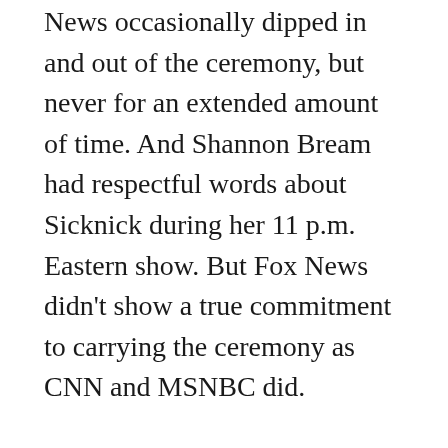News occasionally dipped in and out of the ceremony, but never for an extended amount of time. And Shannon Bream had respectful words about Sicknick during her 11 p.m. Eastern show. But Fox News didn't show a true commitment to carrying the ceremony as CNN and MSNBC did.
New York University journalism professor and media observer Jay Rosen tweeted, "If you're not showing the Capitol ceremony for police officer Brian Sicknick, who died in the